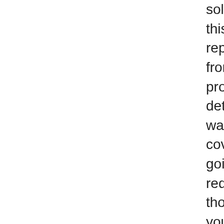solutions. In the course of this check out, the representative coming from the cleaning provider ought to determine your office washing necessities and cover what steps are going to be actually required to comply with those requirements. As you explain your workplace cleansing needs to have, try to acquire a tip of what the ordinary expense is actually for the numerous workplace cleansing tasks your employees carry out on a daily basis. You ought to additionally inquire your potential cleansing firms, what the normal price will certainly be actually for any sort of specialized jobs that